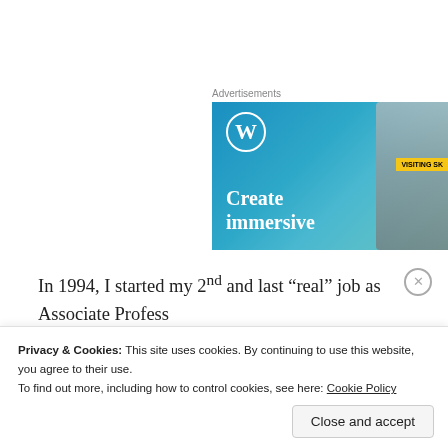[Figure (screenshot): WordPress advertisement banner with blue gradient background showing WordPress logo (W in circle), text 'Create immersive', and a phone mockup with 'VISITING SK' text on yellow badge]
In 1994, I started my 2nd and last “real” job as Associate Profess of Northern British Columbia. And this is where my ADD tende
Privacy & Cookies: This site uses cookies. By continuing to use this website, you agree to their use.
To find out more, including how to control cookies, see here: Cookie Policy
Close and accept